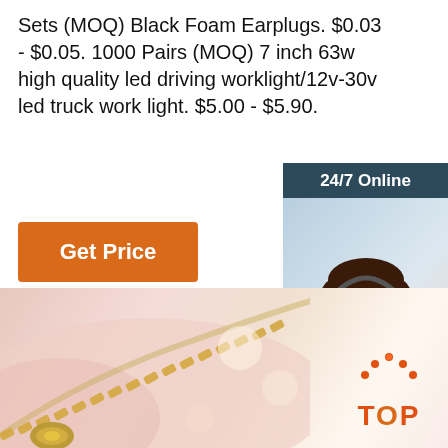Sets (MOQ) Black Foam Earplugs. $0.03 - $0.05. 1000 Pairs (MOQ) 7 inch 63w high quality led driving worklight/12v-30v led truck work light. $5.00 - $5.90.
[Figure (other): Orange 'Get Price' button]
[Figure (other): Sidebar widget showing '24/7 Online' header, photo of a smiling woman with a headset, text 'Click here for free chat!' and an orange QUOTATION button]
[Figure (photo): Close-up photo of a gold/silver zipper chain against a soft pink and white blurred background, with a 'TOP' logo in orange at the bottom right]